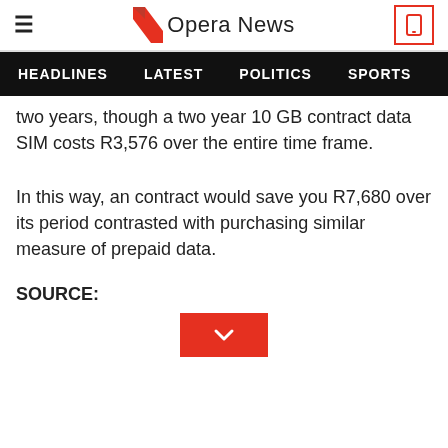Opera News
HEADLINES  LATEST  POLITICS  SPORTS
two years, though a two year 10 GB contract data SIM costs R3,576 over the entire time frame.
In this way, an contract would save you R7,680 over its period contrasted with purchasing similar measure of prepaid data.
SOURCE: